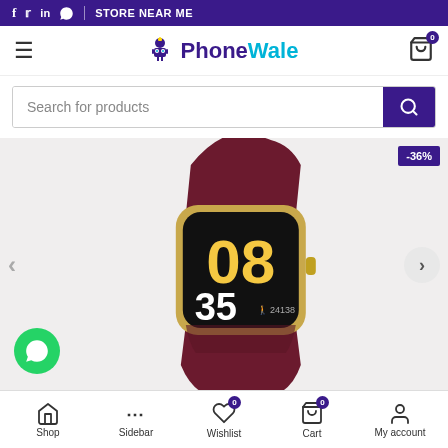f  tw  in  WhatsApp | STORE NEAR ME
[Figure (logo): PhoneWale logo with robot mascot icon, PhoneWale text in purple and cyan]
[Figure (screenshot): Search bar with 'Search for products' placeholder and purple search button]
[Figure (photo): Smartwatch product image showing gold-framed watch with dark maroon/burgundy band, black face displaying 08:35 and 24138 steps, with -36% discount badge]
Shop  Sidebar  Wishlist  Cart  My account